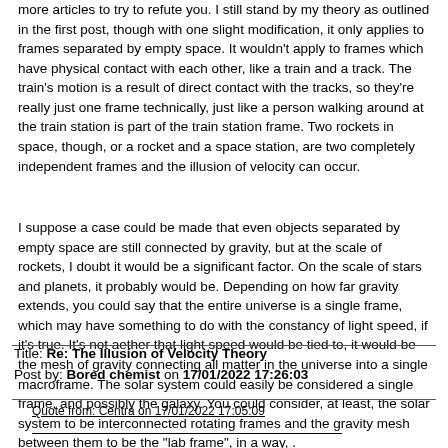more articles to try to refute you. I still stand by my theory as outlined in the first post, though with one slight modification, it only applies to frames separated by empty space. It wouldn't apply to frames which have physical contact with each other, like a train and a track. The train's motion is a result of direct contact with the tracks, so they're really just one frame technically, just like a person walking around at the train station is part of the train station frame. Two rockets in space, though, or a rocket and a space station, are two completely independent frames and the illusion of velocity can occur.
I suppose a case could be made that even objects separated by empty space are still connected by gravity, but at the scale of rockets, I doubt it would be a significant factor. On the scale of stars and planets, it probably would be. Depending on how far gravity extends, you could say that the entire universe is a single frame, which may have something to do with the constancy of light speed, if it's true. It's not aether that light speed would be tied to, it would be the mesh of gravity connecting all matter in the universe into a single macroframe. The solar system could easily be considered a single frame, and possibly the galaxy. You could consider, at least, the solar system to be interconnected rotating frames and the gravity mesh between them to be the "lab frame", in a way, .
Title: Re: The Illusion of Velocity Theory
Post by: Bored chemist on 17/01/2022 17:26:03
Quote from: Centra on 17/01/2022 17:05:09